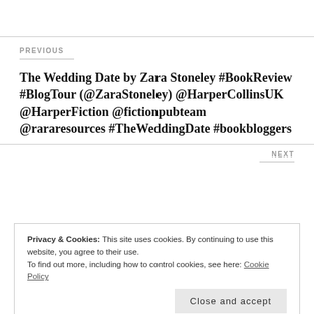PREVIOUS
The Wedding Date by Zara Stoneley #BookReview #BlogTour (@ZaraStoneley) @HarperCollinsUK @HarperFiction @fictionpubteam @rararesources #TheWeddingDate #bookbloggers
NEXT
Privacy & Cookies: This site uses cookies. By continuing to use this website, you agree to their use.
To find out more, including how to control cookies, see here: Cookie Policy
Close and accept